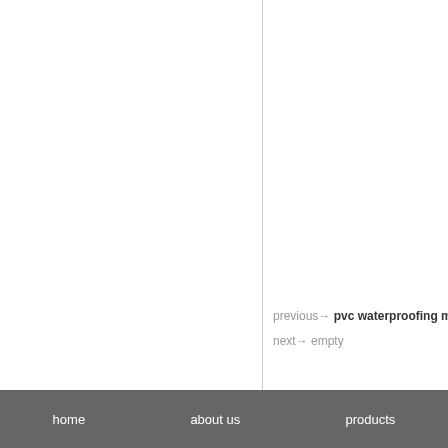previous→ pvc waterproofing m
next→ empty
home   about us   products